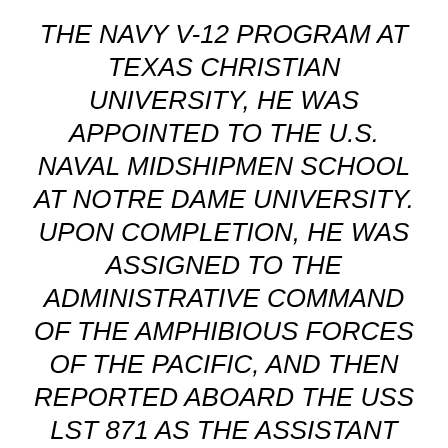THE NAVY V-12 PROGRAM AT TEXAS CHRISTIAN UNIVERSITY, HE WAS APPOINTED TO THE U.S. NAVAL MIDSHIPMEN SCHOOL AT NOTRE DAME UNIVERSITY. UPON COMPLETION, HE WAS ASSIGNED TO THE ADMINISTRATIVE COMMAND OF THE AMPHIBIOUS FORCES OF THE PACIFIC, AND THEN REPORTED ABOARD THE USS LST 871 AS THE ASSISTANT NAVIGATOR. HE EVENTUALLY SERVED AS THE EXECUTIVE OFFICER AND COMMANDING OFFICER.